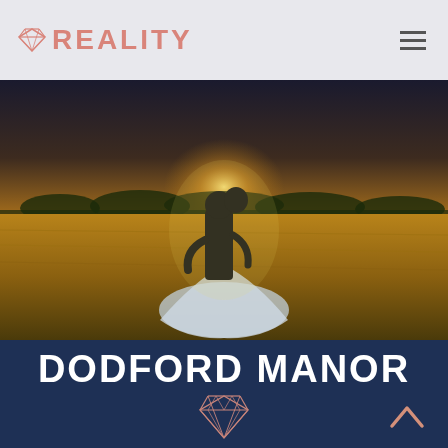REALITY (logo with diamond icon and hamburger menu)
[Figure (photo): Wedding couple silhouetted against golden sunset light in an open field, bride in white dress with train, groom leaning in to kiss her, trees on horizon, warm golden hour light]
DODFORD MANOR
PIPPA & PETE - DECEMBER 2018 - NORTHAMPTONSHIRE
[Figure (logo): Diamond/gem outline logo in rose gold/pink color at bottom center]
[Figure (other): Upward chevron arrow in rose gold/salmon color at bottom right]